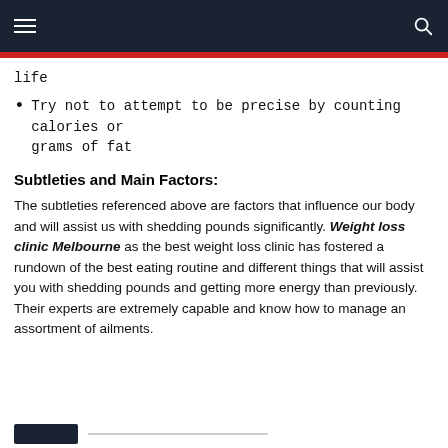Navigation header with hamburger menu and search icon
life
Try not to attempt to be precise by counting calories or grams of fat
Subtleties and Main Factors:
The subtleties referenced above are factors that influence our body and will assist us with shedding pounds significantly. Weight loss clinic Melbourne as the best weight loss clinic has fostered a rundown of the best eating routine and different things that will assist you with shedding pounds and getting more energy than previously. Their experts are extremely capable and know how to manage an assortment of ailments.